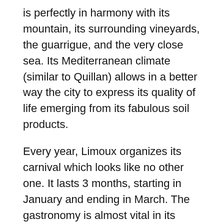is perfectly in harmony with its mountain, its surrounding vineyards, the guarrigue, and the very close sea. Its Mediterranean climate (similar to Quillan) allows in a better way the city to express its quality of life emerging from its fabulous soil products.
Every year, Limoux organizes its carnival which looks like no other one. It lasts 3 months, starting in January and ending in March. The gastronomy is almost vital in its culture: you can discover pébradous (cakes with pepper) in aperitif, artichokes salads, the duck cooked in the way called limouxine (cooked with saffron and garlic), the nougat, the candies and the chocolates.
The Blanquette de Limoux is probably the world's oldest sparkling wine. In 1531, a monk from Saint-